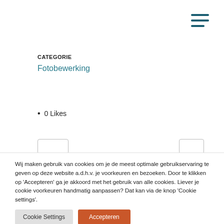[Figure (illustration): Hamburger menu icon with three horizontal lines, teal/dark blue color, top-right corner]
CATEGORIE
Fotobewerking
0 Likes
Wij maken gebruik van cookies om je de meest optimale gebruikservaring te geven op deze website a.d.h.v. je voorkeuren en bezoeken. Door te klikken op 'Accepteren' ga je akkoord met het gebruik van alle cookies. Liever je cookie voorkeuren handmatig aanpassen? Dat kan via de knop 'Cookie settings'.
Cookie Settings
Accepteren